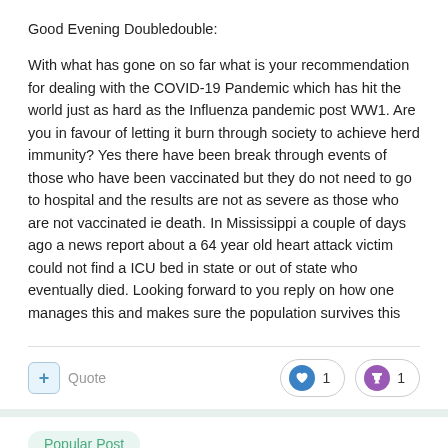Good Evening Doubledouble:
With what has gone on so far what is your recommendation for dealing with the COVID-19 Pandemic which has hit the world just as hard as the Influenza pandemic post WW1. Are you in favour of letting it burn through society to achieve herd immunity? Yes there have been break through events of those who have been vaccinated but they do not need to go to hospital and the results are not as severe as those who are not vaccinated ie death. In Mississippi a couple of days ago a news report about a 64 year old heart attack victim could not find a ICU bed in state or out of state who eventually died. Looking forward to you reply on how one manages this and makes sure the population survives this
Popular Post